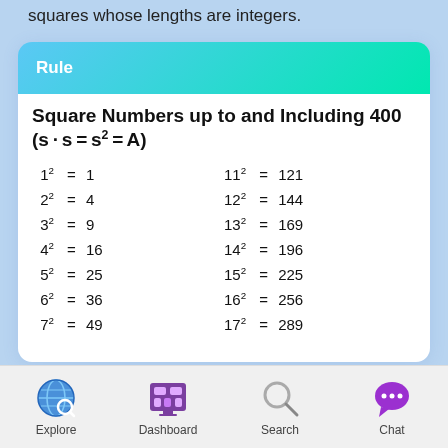squares whose lengths are integers.
Rule
Square Numbers up to and Including 400 (s · s = s² = A)
Explore  Dashboard  Search  Chat